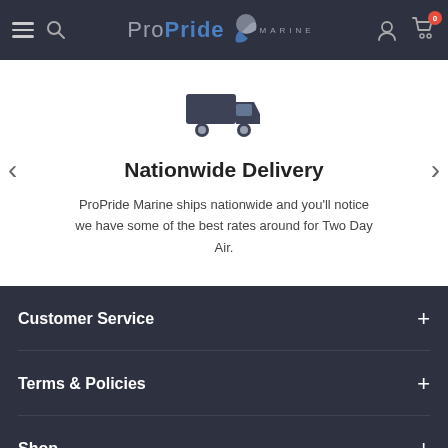ProPride Marine
Nationwide Delivery
ProPride Marine ships nationwide and you’ll notice we have some of the best rates around for Two Day Air.
Customer Service
Terms & Policies
Shop